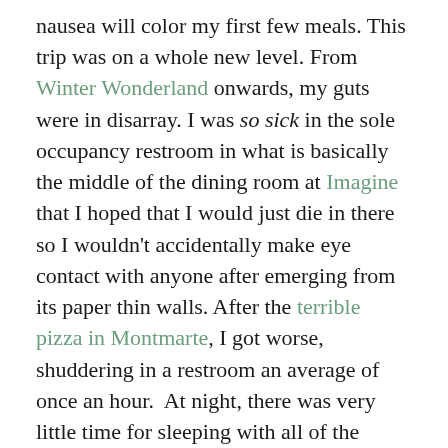nausea will color my first few meals. This trip was on a whole new level. From Winter Wonderland onwards, my guts were in disarray. I was so sick in the sole occupancy restroom in what is basically the middle of the dining room at Imagine that I hoped that I would just die in there so I wouldn't accidentally make eye contact with anyone after emerging from its paper thin walls. After the terrible pizza in Montmarte, I got worse, shuddering in a restroom an average of once an hour.  At night, there was very little time for sleeping with all of the sweating and cramping I was doing. The reason I first selected the toilet row on the train to Chantilly was because I was afraid I'd need to use it, and this was after having to pay to use the restroom in Gare du Nord. In Paris, I watched a man pull down his pants and defecate in front of a statue, and near Les Halles, I